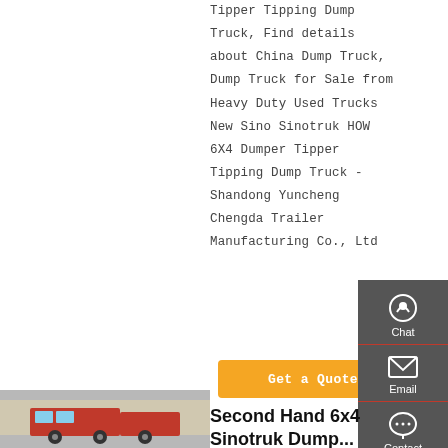Tipper Tipping Dump Truck, Find details about China Dump Truck, Dump Truck for Sale from Heavy Duty Used Trucks New Sino Sinotruk HOWO 6X4 Dumper Tipper Tipping Dump Truck - Shandong Yuncheng Chengda Trailer Manufacturing Co., Ltd
Get a Quote
[Figure (screenshot): Sidebar with chat, email, contact, and top navigation icons on dark grey background]
[Figure (photo): Photo of trucks/vehicles at a facility, partially visible at bottom left]
Second Hand 6x4 Sinotruk Dump...